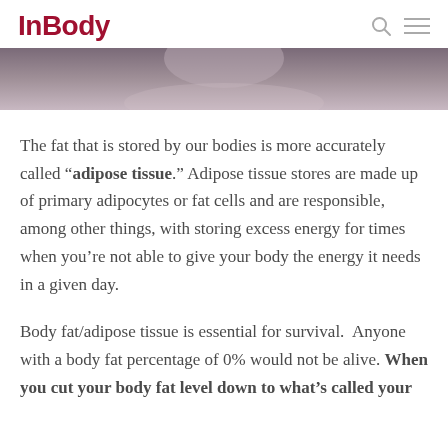InBody
[Figure (photo): Partial photo of a person's face/neck area, muted purple-gray tones]
The fat that is stored by our bodies is more accurately called “adipose tissue.” Adipose tissue stores are made up of primary adipocytes or fat cells and are responsible, among other things, with storing excess energy for times when you’re not able to give your body the energy it needs in a given day.
Body fat/adipose tissue is essential for survival.  Anyone with a body fat percentage of 0% would not be alive. When you cut your body fat level down to what’s called your